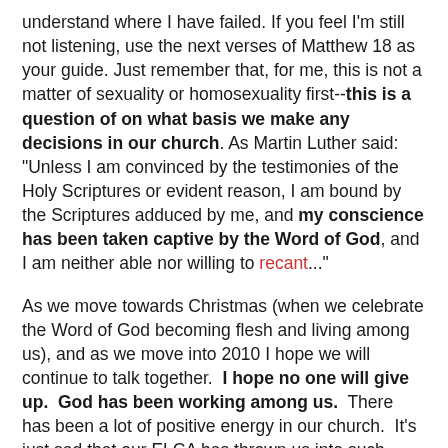understand where I have failed. If you feel I'm still not listening, use the next verses of Matthew 18 as your guide. Just remember that, for me, this is not a matter of sexuality or homosexuality first--this is a question of on what basis we make any decisions in our church. As Martin Luther said: "Unless I am convinced by the testimonies of the Holy Scriptures or evident reason, I am bound by the Scriptures adduced by me, and my conscience has been taken captive by the Word of God, and I am neither able nor willing to recant..."
As we move towards Christmas (when we celebrate the Word of God becoming flesh and living among us), and as we move into 2010 I hope we will continue to talk together.  I hope no one will give up.  God has been working among us.  There has been a lot of positive energy in our church.  It's just sad that our ELCA has thrown us into such confusion.  I hope we will be patient, filled with the Spirit and, if at odds with each other, willing to begin again.  Please join me in prayer, asking our gracious heavenly Father to mercifully help us be both faithful to God's Word and absolutely loving to all.